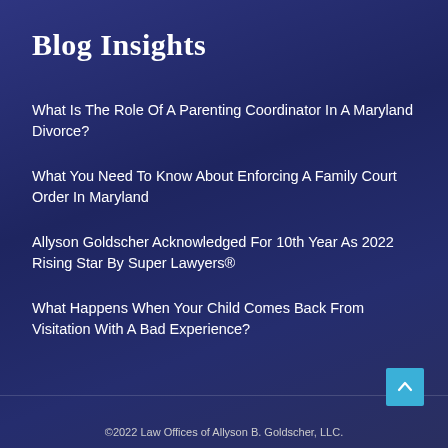Blog Insights
What Is The Role Of A Parenting Coordinator In A Maryland Divorce?
What You Need To Know About Enforcing A Family Court Order In Maryland
Allyson Goldscher Acknowledged For 10th Year As 2022 Rising Star By Super Lawyers®
What Happens When Your Child Comes Back From Visitation With A Bad Experience?
©2022 Law Offices of Allyson B. Goldscher, LLC.